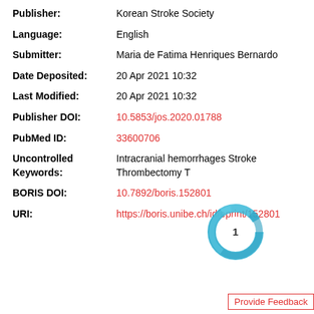Publisher: Korean Stroke Society
Language: English
Submitter: Maria de Fatima Henriques Bernardo
Date Deposited: 20 Apr 2021 10:32
Last Modified: 20 Apr 2021 10:32
Publisher DOI: 10.5853/jos.2020.01788
PubMed ID: 33600706
Uncontrolled Keywords: Intracranial hemorrhages Stroke Thrombectomy T
BORIS DOI: 10.7892/boris.152801
URI: https://boris.unibe.ch/id/eprint/152801
[Figure (other): Donut-style citation badge showing number 1 in center, blue ring around it]
Provide Feedback